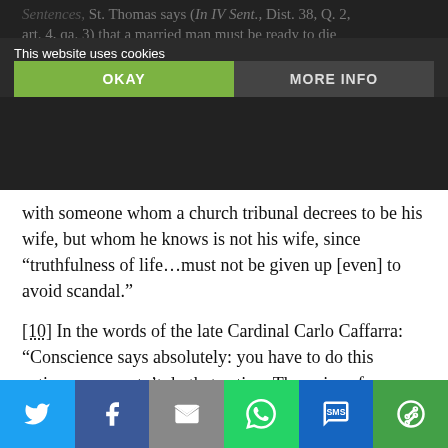Sentences, St. Thomas says (In IV Sent., Dist. 38, Q. 2, art. 4, qa. 3) that a married man must be ready to die rather than have marital relations
This website uses cookies
OKAY | MORE INFO
with someone whom a church tribunal decrees to be his wife, but whom he knows is not his wife, since “truthfulness of life…must not be given up [even] to avoid scandal.”
[10] In the words of the late Cardinal Carlo Caffarra: “Conscience says absolutely: you have to do this action; you mustn’t do that action. The voice of conscience confronts man’s freedom with an absolute: an absolute duty…. Man cannot dispense himself from an obligation which the judgement of conscience
[Figure (infographic): Social share bar at bottom with Twitter, Facebook, Email, WhatsApp, SMS, and More buttons]